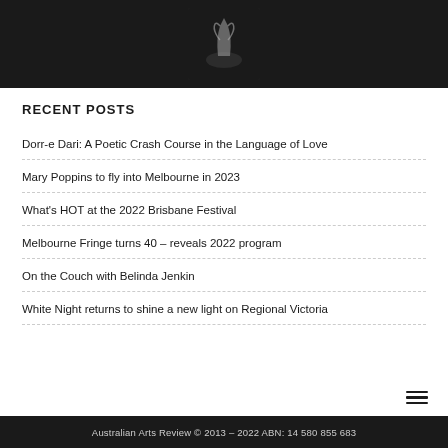[Figure (photo): Dark background with a small sculpture or decorative object centered on a dark/black background]
RECENT POSTS
Dorr-e Dari: A Poetic Crash Course in the Language of Love
Mary Poppins to fly into Melbourne in 2023
What's HOT at the 2022 Brisbane Festival
Melbourne Fringe turns 40 – reveals 2022 program
On the Couch with Belinda Jenkin
White Night returns to shine a new light on Regional Victoria
Australian Arts Review © 2013 – 2022 ABN: 14 580 855 683